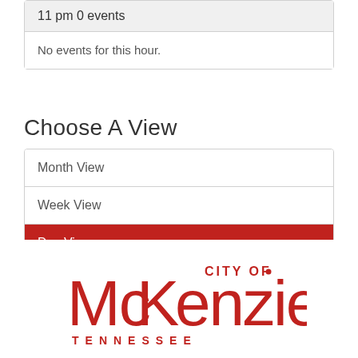11 pm 0 events
No events for this hour.
Choose A View
Month View
Week View
Day View
[Figure (logo): City of McKenzie Tennessee logo in red]